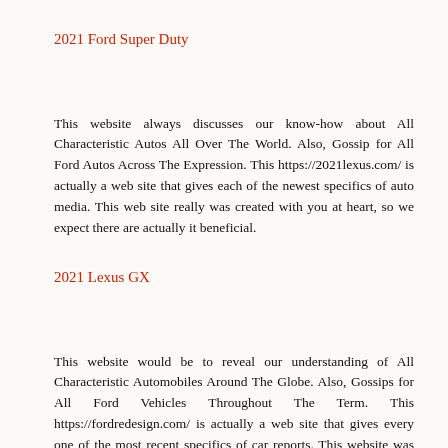2021 Ford Super Duty
This website always discusses our know-how about All Characteristic Autos All Over The World. Also, Gossip for All Ford Autos Across The Expression. This https://2021lexus.com/ is actually a web site that gives each of the newest specifics of auto media. This web site really was created with you at heart, so we expect there are actually it beneficial.
2021 Lexus GX
This website would be to reveal our understanding of All Characteristic Automobiles Around The Globe. Also, Gossips for All Ford Vehicles Throughout The Term. This https://fordredesign.com/ is actually a web site that gives every one of the most recent specifics of car reports. This website was constructed with you at heart and that we hope you'll discover it helpful.